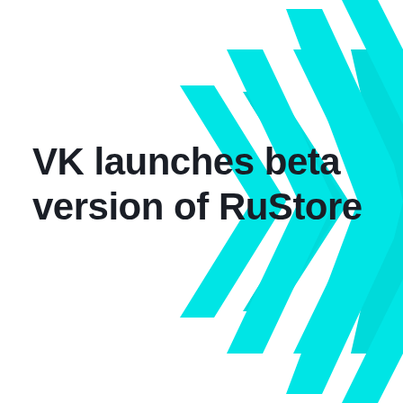VK launches beta version of RuStore
[Figure (logo): RuStore logo graphic: two sets of cyan/turquoise double chevron/arrow shapes pointing left, partially cropped at the right edge of the page, on a white background]